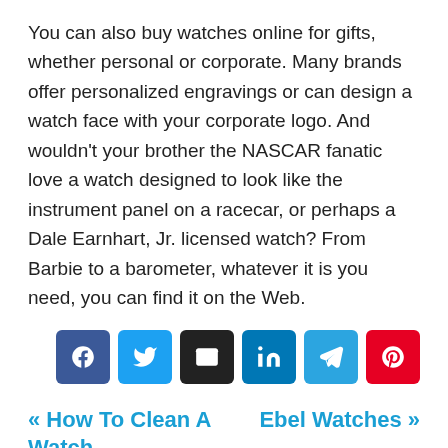You can also buy watches online for gifts, whether personal or corporate. Many brands offer personalized engravings or can design a watch face with your corporate logo. And wouldn't your brother the NASCAR fanatic love a watch designed to look like the instrument panel on a racecar, or perhaps a Dale Earnhart, Jr. licensed watch? From Barbie to a barometer, whatever it is you need, you can find it on the Web.
[Figure (other): Social share buttons row: Facebook, Twitter, Email, LinkedIn, Telegram, Pinterest]
« How To Clean A Watch    Ebel Watches »